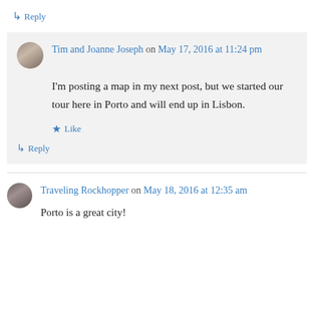↳ Reply
Tim and Joanne Joseph on May 17, 2016 at 11:24 pm
I'm posting a map in my next post, but we started our tour here in Porto and will end up in Lisbon.
★ Like
↳ Reply
Traveling Rockhopper on May 18, 2016 at 12:35 am
Porto is a great city!